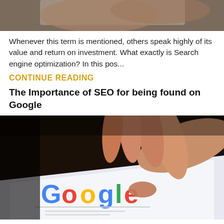[Figure (photo): Close-up of a hand holding a smartphone, partially cropped at top]
Whenever this term is mentioned, others speak highly of its value and return on investment. What exactly is Search engine optimization? In this pos...
CONTINUE READING
The Importance of SEO for being found on Google
[Figure (photo): A hand reaching down to touch a tablet screen showing the Google search homepage]